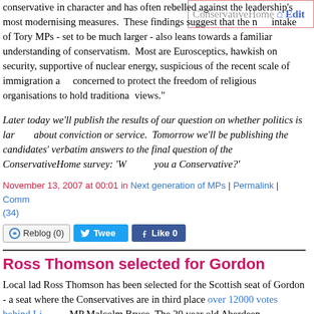[Figure (logo): ConservativeHome logo with house icon and 'Edit' text in blue]
conservative in character and has often rebelled against the leadership's most modernising measures.  These findings suggest that the new intake of Tory MPs - set to be much larger - also leans towards a familiar understanding of conservatism.  Most are Eurosceptics, hawkish on security, supportive of nuclear energy, suspicious of the recent scale of immigration and concerned to protect the freedom of religious organisations to hold traditional views."
Later today we'll publish the results of our question on whether politics is largely about conviction or service.  Tomorrow we'll be publishing the candidates' verbatim answers to the final question of the ConservativeHome survey: 'Why are you a Conservative?'
November 13, 2007 at 00:01 in Next generation of MPs | Permalink | Comments (34)
[Figure (screenshot): Social sharing buttons: Reblog (0), Tweet, Like 0]
Ross Thomson selected for Gordon
Local lad Ross Thomson has been selected for the Scottish seat of Gordon - a seat where the Conservatives are in third place over 12000 votes behind LibDem MP Malcolm Bruce. The 20 year old Aberdeen University student and former Scottish Parliament candidate for South Aberdeen/Stonehaven is a